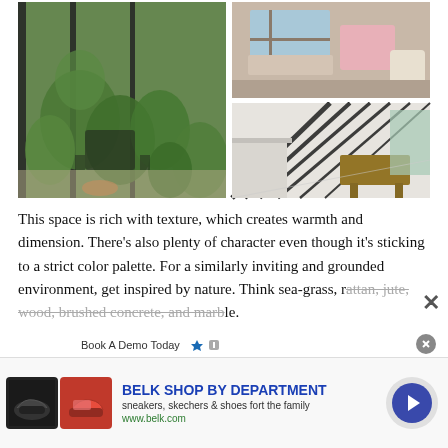[Figure (photo): Collage of three interior design photos: left large image shows a sunroom/greenhouse space filled with tropical plants, a rattan chair, and large glass windows; top-right shows a cozy reading nook with a window seat, pink blanket, and cream armchair; bottom-right shows a bright elongated kitchen/hallway with vaulted ceiling with black beams, white cabinets, and a wooden table.]
This space is rich with texture, which creates warmth and dimension. There’s also plenty of character even though it’s sticking to a strict color palette. For a similarly inviting and grounded environment, get inspired by nature. Think sea-grass, rattan, jute, wood, brushed concrete, and marble.
[Figure (screenshot): Advertisement overlay: 'BELK SHOP BY DEPARTMENT' with sneaker product images and text 'sneakers, skechers & shoes for the family' and 'www.belk.com'. Also shows a 'Book A Demo Today' ad panel partially visible.]